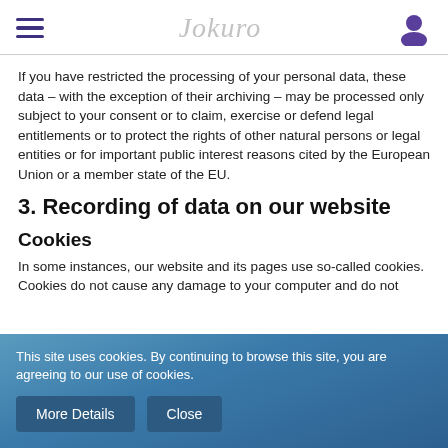[hamburger menu] Jokuro [user icon]
If you have restricted the processing of your personal data, these data – with the exception of their archiving – may be processed only subject to your consent or to claim, exercise or defend legal entitlements or to protect the rights of other natural persons or legal entities or for important public interest reasons cited by the European Union or a member state of the EU.
3. Recording of data on our website
Cookies
In some instances, our website and its pages use so-called cookies. Cookies do not cause any damage to your computer and do not contain viruses. They serve of archiving into please our site
This site uses cookies. By continuing to browse this site, you are agreeing to our use of cookies.
More Details  Close